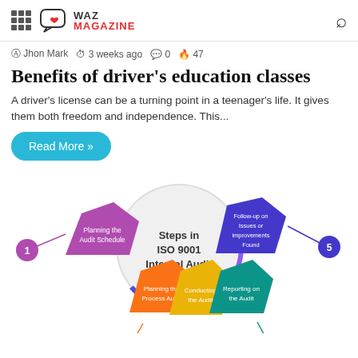WAZ MAGAZINE
Jhon Mark  3 weeks ago  0  47
Benefits of driver's education classes
A driver's license can be a turning point in a teenager's life. It gives them both freedom and independence. This...
Read More »
[Figure (infographic): Hexagonal infographic showing Steps in ISO 9001 Internal Audit with 5 steps: 1. Planning the Audit Schedule (purple), 2. Planning the Process Audit (orange), 3. Conducting the Audit (yellow), 4. Reporting on the Audit (teal), 5. Follow-up on Issues or Improvements Found (dark purple). Center circle shows 'Steps in ISO 9001 Internal Audit'.]